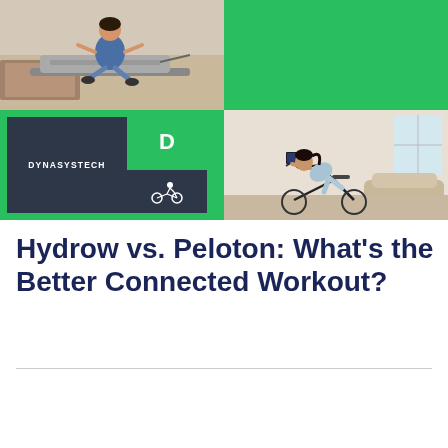[Figure (photo): Composite image: top-left shows a woman using a Hydrow rowing machine indoors on a wood floor; top-right is solid green background; bottom-left shows the DynaSysTech logo with dark tile, green tile with 'D', and cycling icon; bottom-right shows a woman riding a Peloton stationary bike in a bright home room.]
Hydrow vs. Peloton: What’s the Better Connected Workout?